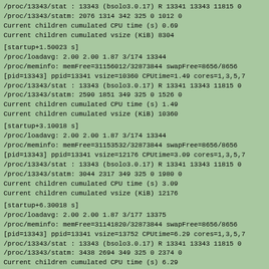/proc/13343/stat : 13343 (bsolo3.0.17) R 13341 13343 11815 0
/proc/13343/statm: 2076 1314 342 325 0 1012 0
Current children cumulated CPU time (s) 0.69
Current children cumulated vsize (KiB) 8304
[startup+1.50023 s]
/proc/loadavg: 2.00 2.00 1.87 3/174 13344
/proc/meminfo: memFree=31156012/32873844 swapFree=8656/8656
[pid=13343] ppid=13341 vsize=10360 CPUtime=1.49 cores=1,3,5,7
/proc/13343/stat : 13343 (bsolo3.0.17) R 13341 13343 11815 0
/proc/13343/statm: 2590 1851 349 325 0 1526 0
Current children cumulated CPU time (s) 1.49
Current children cumulated vsize (KiB) 10360
[startup+3.10018 s]
/proc/loadavg: 2.00 2.00 1.87 3/174 13344
/proc/meminfo: memFree=31153532/32873844 swapFree=8656/8656
[pid=13343] ppid=13341 vsize=12176 CPUtime=3.09 cores=1,3,5,7
/proc/13343/stat : 13343 (bsolo3.0.17) R 13341 13343 11815 0
/proc/13343/statm: 3044 2317 349 325 0 1980 0
Current children cumulated CPU time (s) 3.09
Current children cumulated vsize (KiB) 12176
[startup+6.30018 s]
/proc/loadavg: 2.00 2.00 1.87 3/177 13375
/proc/meminfo: memFree=31141820/32873844 swapFree=8656/8656
[pid=13343] ppid=13341 vsize=13752 CPUtime=6.29 cores=1,3,5,7
/proc/13343/stat : 13343 (bsolo3.0.17) R 13341 13343 11815 0
/proc/13343/statm: 3438 2694 349 325 0 2374 0
Current children cumulated CPU time (s) 6.29
Current children cumulated vsize (KiB) 13752
[startup+12.7002 s]